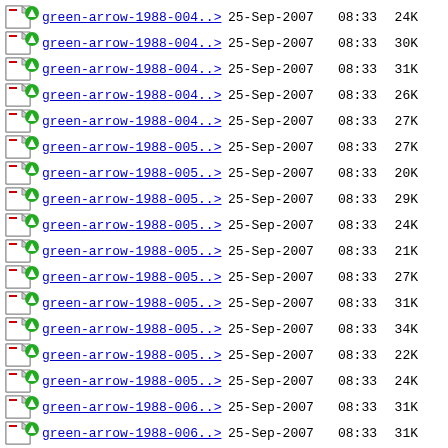green-arrow-1988-004..> 25-Sep-2007 08:33 24K
green-arrow-1988-004..> 25-Sep-2007 08:33 30K
green-arrow-1988-004..> 25-Sep-2007 08:33 31K
green-arrow-1988-004..> 25-Sep-2007 08:33 26K
green-arrow-1988-004..> 25-Sep-2007 08:33 27K
green-arrow-1988-005..> 25-Sep-2007 08:33 27K
green-arrow-1988-005..> 25-Sep-2007 08:33 20K
green-arrow-1988-005..> 25-Sep-2007 08:33 29K
green-arrow-1988-005..> 25-Sep-2007 08:33 24K
green-arrow-1988-005..> 25-Sep-2007 08:33 21K
green-arrow-1988-005..> 25-Sep-2007 08:33 27K
green-arrow-1988-005..> 25-Sep-2007 08:33 31K
green-arrow-1988-005..> 25-Sep-2007 08:33 34K
green-arrow-1988-005..> 25-Sep-2007 08:33 22K
green-arrow-1988-005..> 25-Sep-2007 08:33 24K
green-arrow-1988-006..> 25-Sep-2007 08:33 31K
green-arrow-1988-006..> 25-Sep-2007 08:33 31K